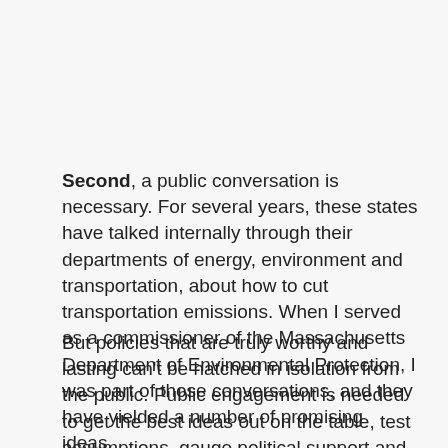Second, a public conversation is necessary. For several years, these states have talked internally through their departments of energy, environment and transportation, about how to cut transportation emissions. When I served as a commissioner of the Massachusetts Department of Environmental Protection, I was part of those conversations, and they have yielded a number of promising ideas.
But policies that are truly worthy and lasting can't be hatched in isolation from the public. Public engagement is needed to get the best ideas out on the table, test assumptions, gauge political support and persuade the